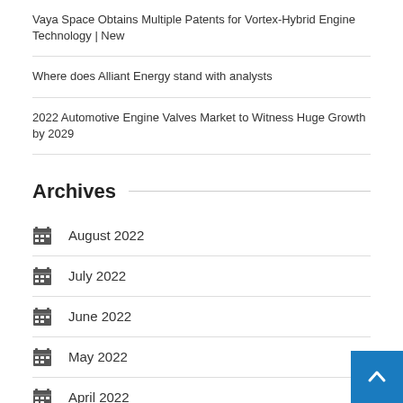Vaya Space Obtains Multiple Patents for Vortex-Hybrid Engine Technology | New
Where does Alliant Energy stand with analysts
2022 Automotive Engine Valves Market to Witness Huge Growth by 2029
Archives
August 2022
July 2022
June 2022
May 2022
April 2022
March 2022
February 2022